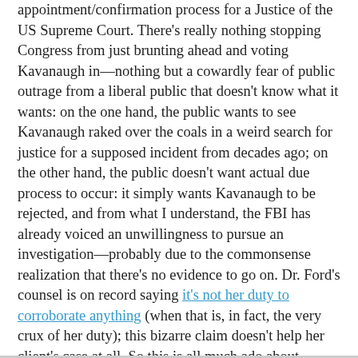appointment/confirmation process for a Justice of the US Supreme Court. There's really nothing stopping Congress from just brunting ahead and voting Kavanaugh in—nothing but a cowardly fear of public outrage from a liberal public that doesn't know what it wants: on the one hand, the public wants to see Kavanaugh raked over the coals in a weird search for justice for a supposed incident from decades ago; on the other hand, the public doesn't want actual due process to occur: it simply wants Kavanaugh to be rejected, and from what I understand, the FBI has already voiced an unwillingness to pursue an investigation—probably due to the commonsense realization that there's no evidence to go on. Dr. Ford's counsel is on record saying it's not her duty to corroborate anything (when that is, in fact, the very crux of her duty); this bizarre claim doesn't help her client's case at all. So this is all much ado about nothing. As Glenn Reynolds has been saying to the Senate over the past few days, Hold the vote tomorrow.